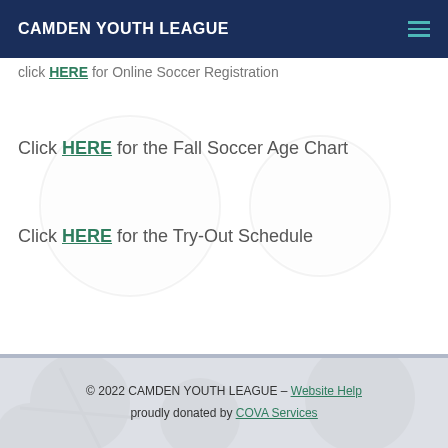CAMDEN YOUTH LEAGUE
Click HERE for Online Soccer Registration
Click HERE for the Fall Soccer Age Chart
Click HERE for the Try-Out Schedule
© 2022 CAMDEN YOUTH LEAGUE – Website Help proudly donated by COVA Services